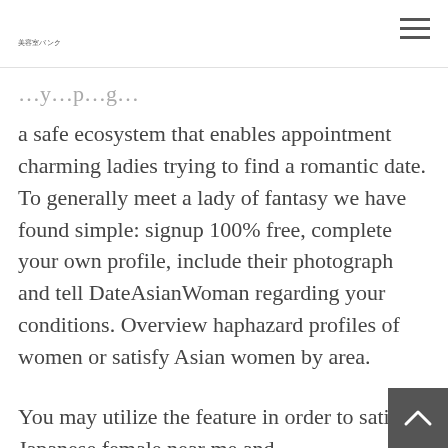美容室バンク
a safe ecosystem that enables appointment charming ladies trying to find a romantic date. To generally meet a lady of fantasy we have found simple: signup 100% free, complete your own profile, include their photograph and tell DateAsianWoman regarding your conditions. Overview haphazard profiles of women or satisfy Asian women by area.
You may utilize the feature in order to satisfy Japanese female near me and